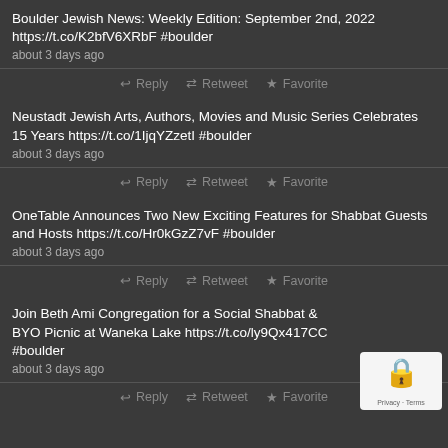Boulder Jewish News: Weekly Edition: September 2nd, 2022 https://t.co/K2bfV6XRbF #boulder
about 3 days ago
Reply  Retweet  Favorite
Neustadt Jewish Arts, Authors, Movies and Music Series Celebrates 15 Years https://t.co/1IjqYZzetI #boulder
about 3 days ago
Reply  Retweet  Favorite
OneTable Announces Two New Exciting Features for Shabbat Guests and Hosts https://t.co/Hr0kGzZ7vF #boulder
about 3 days ago
Reply  Retweet  Favorite
Join Beth Ami Congregation for a Social Shabbat & BYO Picnic at Waneka Lake https://t.co/ly9Qx417CC #boulder
about 3 days ago
Reply  Retweet  Favorite